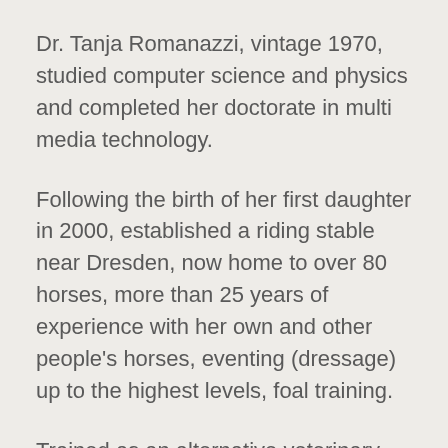Dr. Tanja Romanazzi, vintage 1970, studied computer science and physics and completed her doctorate in multi media technology.
Following the birth of her first daughter in 2000, established a riding stable near Dresden, now home to over 80 horses, more than 25 years of experience with her own and other people's horses, eventing (dressage) up to the highest levels, foal training.
Trained as an alternative veterinary practitioner at the BTB (Bildungswerk für therapeutische Berufe - training centre for therapeutic professions), REIKI (grade III) and